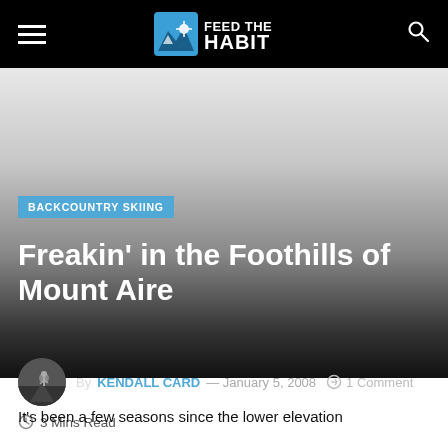Feed The Habit — navigation bar with hamburger menu and search
[Figure (photo): Hero image area with gradient from light gray to dark, representing a mountain/backcountry skiing scene]
BACKCOUNTRY SKIING
Freakin' in the Foothills of Mount Aire
By KENDALL CARD — January 5, 2008  1 Comment
3 Mins Read
It's been a few seasons since the lower elevation